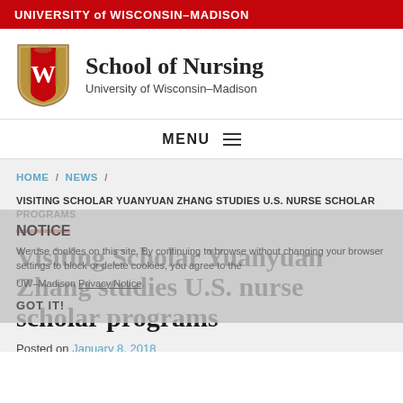UNIVERSITY of WISCONSIN–MADISON
[Figure (logo): University of Wisconsin–Madison shield logo with W emblem]
School of Nursing
University of Wisconsin–Madison
MENU
HOME / NEWS /
VISITING SCHOLAR YUANYUAN ZHANG STUDIES U.S. NURSE SCHOLAR PROGRAMS
Visiting Scholar Yuanyuan Zhang studies U.S. nurse scholar programs
Posted on January 8, 2018